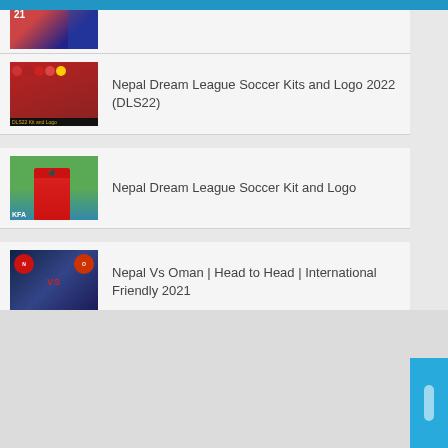[Figure (screenshot): Thumbnail image partially visible at top, appears to be a sports/gaming screenshot with red and blue tones, number 21 visible]
[Figure (screenshot): Thumbnail of Nepal Dream League Soccer Kits and Logo 2022 (DLS22) - team photo with red jerseys and DLS22 Kit and Logo text overlay]
Nepal Dream League Soccer Kits and Logo 2022 (DLS22)
[Figure (screenshot): Thumbnail of Nepal Dream League Soccer Kit and Logo - 3D player figure in red jersey on green pitch]
Nepal Dream League Soccer Kit and Logo
[Figure (screenshot): Thumbnail of Nepal Vs Oman Head to Head International Friendly 2021 - dark blue background with VS graphic]
Nepal Vs Oman | Head to Head | International Friendly 2021